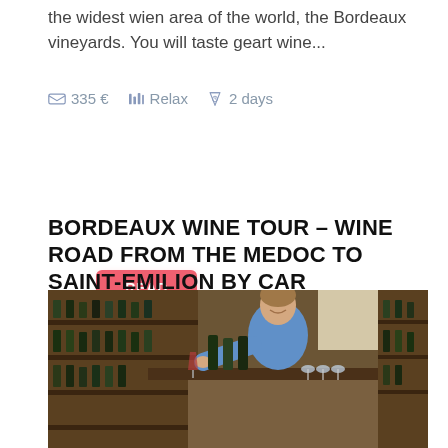the widest wien area of the world, the Bordeaux vineyards. You will taste geart wine...
335 €   Relax   2 days
READ MORE
BORDEAUX WINE TOUR – WINE ROAD FROM THE MEDOC TO SAINT-EMILION BY CAR
[Figure (photo): Man in blue shirt pouring wine at a wine bar, surrounded by wine bottles on wooden shelves]